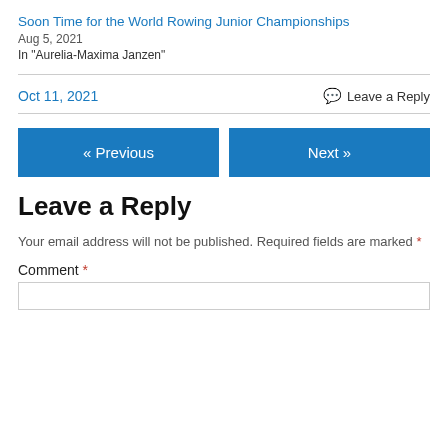Soon Time for the World Rowing Junior Championships
Aug 5, 2021
In "Aurelia-Maxima Janzen"
Oct 11, 2021
💬 Leave a Reply
« Previous
Next »
Leave a Reply
Your email address will not be published. Required fields are marked *
Comment *